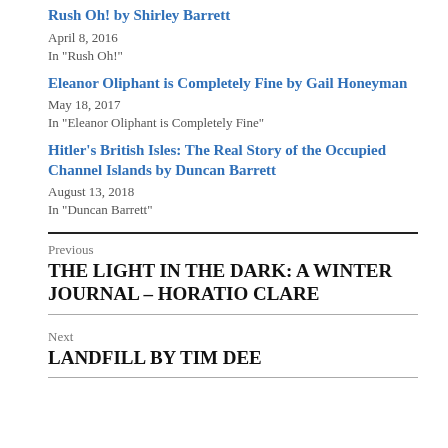Rush Oh! by Shirley Barrett
April 8, 2016
In "Rush Oh!"
Eleanor Oliphant is Completely Fine by Gail Honeyman
May 18, 2017
In "Eleanor Oliphant is Completely Fine"
Hitler’s British Isles: The Real Story of the Occupied Channel Islands by Duncan Barrett
August 13, 2018
In "Duncan Barrett"
Previous
THE LIGHT IN THE DARK: A WINTER JOURNAL – HORATIO CLARE
Next
LANDFILL BY TIM DEE